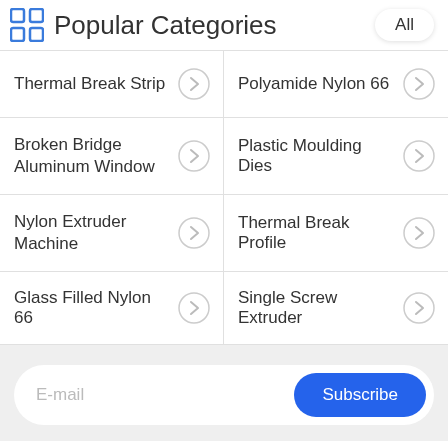Popular Categories
Thermal Break Strip
Polyamide Nylon 66
Broken Bridge Aluminum Window
Plastic Moulding Dies
Nylon Extruder Machine
Thermal Break Profile
Glass Filled Nylon 66
Single Screw Extruder
E-mail  Subscribe